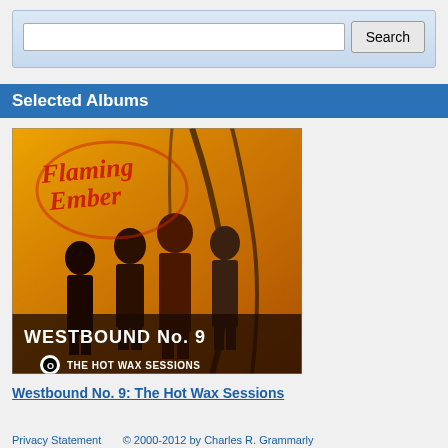[Figure (screenshot): Search box with text input field and Search button on a light blue gradient background]
Selected Albums
[Figure (photo): Album cover for Flaming Ember - Westbound No. 9: The Hot Wax Sessions. Orange/yellow background with four band members standing, red stylized Flaming Ember logo text at top, WESTBOUND No. 9 text at bottom, O label logo and THE HOT WAX SESSIONS text.]
Westbound No. 9: The Hot Wax Sessions
Privacy Statement     © 2000-2012 by Charles R. Grammarly